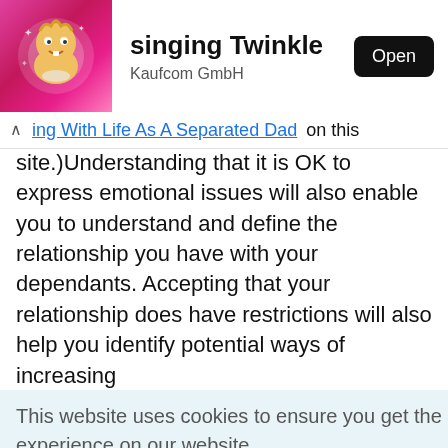[Figure (screenshot): App store banner showing 'singing Twinkle' app by Kaufcom GmbH with an Open button and a cartoon character icon on a pink background]
ing With Life As A Separated Dad on this site.)Understanding that it is OK to express emotional issues will also enable you to understand and define the relationship you have with your dependants. Accepting that your relationship does have restrictions will also help you identify potential ways of increasing
This website uses cookies to ensure you get the best experience on our website. Cookie Policy
Got it!
will your